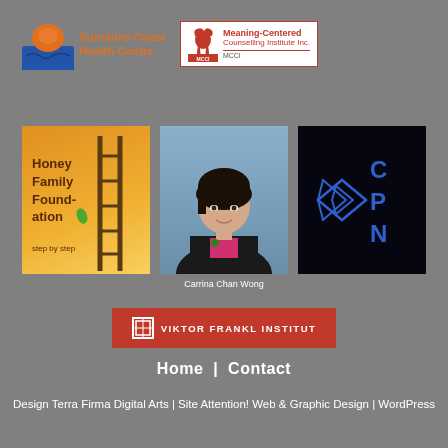[Figure (logo): Sunshine Coast Health Centre logo with orange/blue mountain wave icon and orange text]
[Figure (logo): Meaning-Centered Counselling Institute Inc. (MCCI) logo with red horse icon and red/dark text in white bordered box]
[Figure (logo): Honey Family Foundation logo - yellow/orange background with ladder graphic and text 'Honey Family Foundation step by step']
[Figure (photo): Photo of Carrina Chan Wong, a woman in black jacket and pink top]
Carrina Chan Wong
[Figure (logo): CPN logo - dark background with blue diamond/arrow shapes and letters C, P, N in blue]
[Figure (logo): Viktor Frankl Institut logo - red button with white text 'VIKTOR FRANKL INSTITUT' and icon]
Home  |  Contact
Design Terra Firma Digital Arts | Site Attention! Web & Graphic Design | WordPress